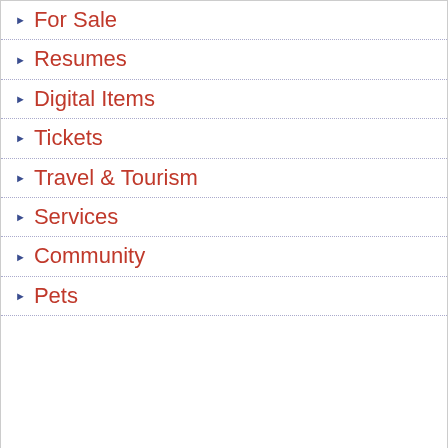For Sale
Resumes
Digital Items
Tickets
Travel & Tourism
Services
Community
Pets